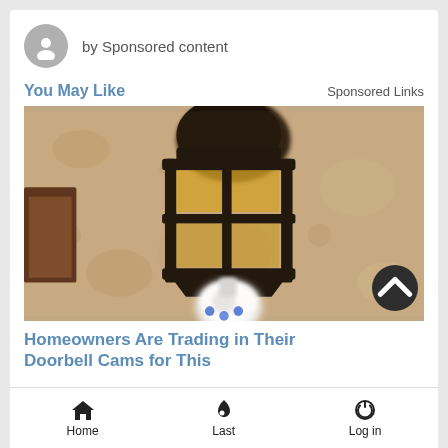by Sponsored content
You May Like
Sponsored Links
[Figure (photo): A blurry outdoor wall lantern mounted on a textured beige stucco wall, with a white security camera visible below it. The lantern has dark metal framing with amber glass panels.]
Homeowners Are Trading in Their Doorbell Cams for This
Home  Last  Log in